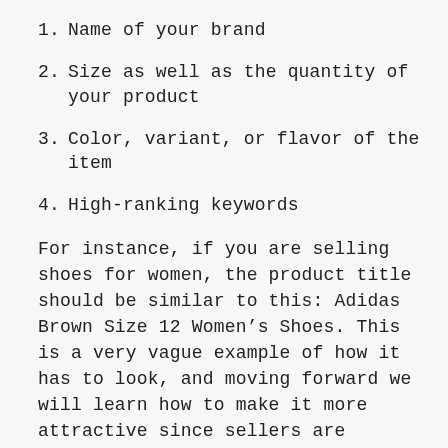1. Name of your brand
2. Size as well as the quantity of your product
3. Color, variant, or flavor of the item
4. High-ranking keywords
For instance, if you are selling shoes for women, the product title should be similar to this: Adidas Brown Size 12 Women’s Shoes. This is a very vague example of how it has to look, and moving forward we will learn how to make it more attractive since sellers are allowed to use approximately 200 characters